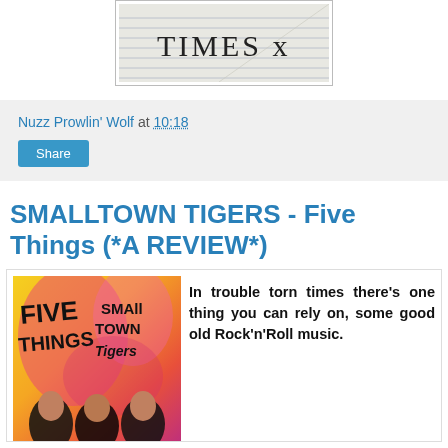[Figure (photo): Handwritten text 'TIMES x' on lined paper background]
Nuzz Prowlin' Wolf at 10:18
Share
SMALLTOWN TIGERS - Five Things (*A REVIEW*)
[Figure (photo): Album cover for Smalltown Tigers 'Five Things' showing band members with pink/yellow graphic design]
In trouble torn times there's one thing you can rely on, some good old Rock'n'Roll music.